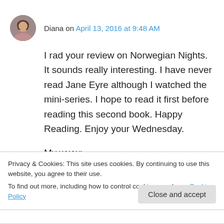[Figure (photo): Circular avatar photo of Diana, a person with dark hair]
Diana on April 13, 2016 at 9:48 AM
I rad your review on Norwegian Nights. It sounds really interesting. I have never read Jane Eyre although I watched the mini-series. I hope to read it first before reading this second book. Happy Reading. Enjoy your Wednesday.

My www:
https://duanitau.wordpress.com/2016/04/12/www...
Privacy & Cookies: This site uses cookies. By continuing to use this website, you agree to their use.
To find out more, including how to control cookies, see here: Cookie Policy
Close and accept